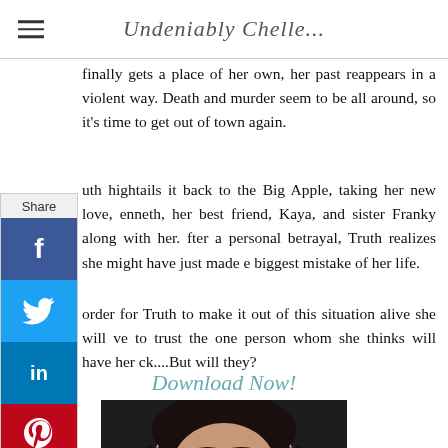Undeniably Chelle...
finally gets a place of her own, her past reappears in a violent way. Death and murder seem to be all around, so it's time to get out of town again.
uth hightails it back to the Big Apple, taking her new love, enneth, her best friend, Kaya, and sister Franky along with her. fter a personal betrayal, Truth realizes she might have just made e biggest mistake of her life.
order for Truth to make it out of this situation alive she will ve to trust the one person whom she thinks will have her ck....But will they?
Download Now!
[Figure (photo): Close-up photo of a woman with dark wavy hair, dark eye makeup, looking at the camera]